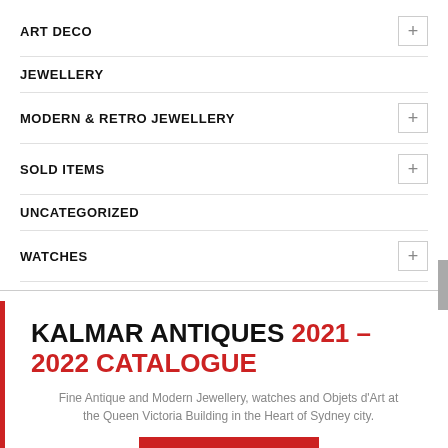ART DECO
JEWELLERY
MODERN & RETRO JEWELLERY
SOLD ITEMS
UNCATEGORIZED
WATCHES
KALMAR ANTIQUES 2021 – 2022 CATALOGUE
Fine Antique and Modern Jewellery, watches and Objets d'Art at the Queen Victoria Building in the Heart of Sydney city.
DOWNLOAD NOW